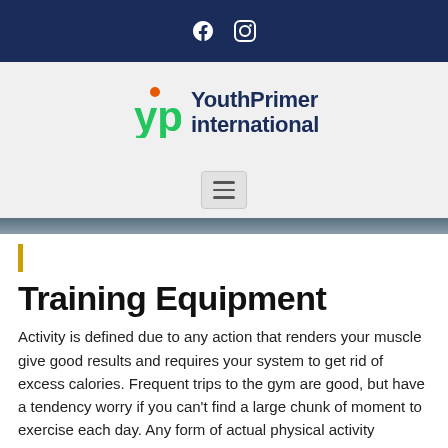Facebook Instagram social icons header
[Figure (logo): YouthPrimer international logo with green and orange yp icon]
[Figure (other): Hamburger menu button]
[Figure (photo): Thin banner image strip]
Training Equipment
Activity is defined due to any action that renders your muscle give good results and requires your system to get rid of excess calories. Frequent trips to the gym are good, but have a tendency worry if you can't find a large chunk of moment to exercise each day. Any form of actual physical activity